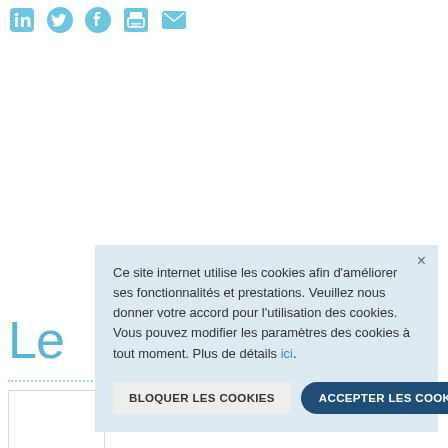[Figure (screenshot): Social media sharing icons row: LinkedIn, Twitter, Facebook, Print, Email — all in light blue]
Le
[Figure (screenshot): Cookie consent overlay dialog with text: Ce site internet utilise les cookies afin d'améliorer ses fonctionnalités et prestations. Veuillez nous donner votre accord pour l'utilisation des cookies. Vous pouvez modifier les paramètres des cookies à tout moment. Plus de détails ici. Buttons: BLOQUER LES COOKIES and ACCEPTER LES COOKIES]